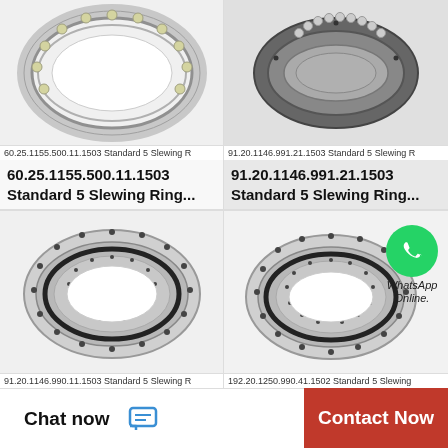[Figure (photo): Slewing ring bearing (angular contact ball bearing type) - product photo top left, partially cropped]
60.25.1155.500.11.1503 Standard 5 Slewing R
60.25.1155.500.11.1503
Standard 5 Slewing Ring...
[Figure (photo): Slewing ring bearing (cross-roller type, dark metallic) - product photo top right, partially cropped]
91.20.1146.991.21.1503 Standard 5 Slewing R
91.20.1146.991.21.1503
Standard 5 Slewing Ring...
[Figure (photo): Large slewing ring bearing (standard flange type) - bottom left product photo]
91.20.1146.990.11.1503 Standard 5 Slewing R
[Figure (photo): Large slewing ring bearing with WhatsApp Online overlay - bottom right product photo]
192.20.1250.990.41.1502 Standard 5 Slewing
Chat now
Contact Now